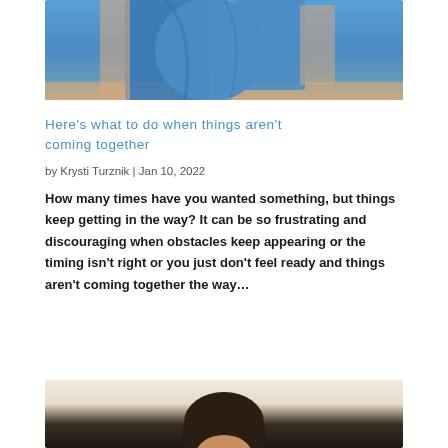[Figure (photo): Person wearing a blue outfit, upper body visible against a sandy/beach background]
Here’s what to do when things aren’t coming together
by Krysti Turznik | Jan 10, 2022
How many times have you wanted something, but things keep getting in the way? It can be so frustrating and discouraging when obstacles keep appearing or the timing isn’t right or you just don’t feel ready and things aren’t coming together the way…
[Figure (photo): Portrait photo of a person, head and shoulders visible from below, dark hair]